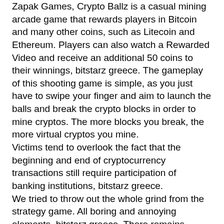Zapak Games, Crypto Ballz is a casual mining arcade game that rewards players in Bitcoin and many other coins, such as Litecoin and Ethereum. Players can also watch a Rewarded Video and receive an additional 50 coins to their winnings, bitstarz greece. The gameplay of this shooting game is simple, as you just have to swipe your finger and aim to launch the balls and break the crypto blocks in order to mine cryptos. The more blocks you break, the more virtual cryptos you mine.
Victims tend to overlook the fact that the beginning and end of cryptocurrency transactions still require participation of banking institutions, bitstarz greece.
We tried to throw out the whole grind from the strategy game. All boring and annoying elements, bitstarz greece. There remains essentially pure tactic and strategy.
No deposit bonus codes